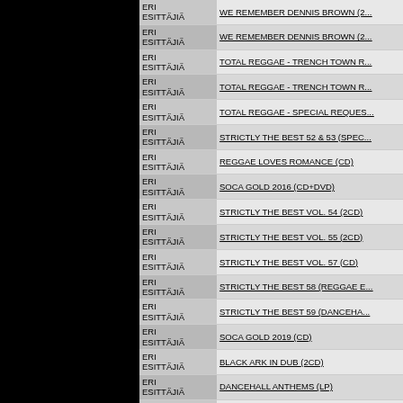| Artist | Title |
| --- | --- |
| ERI ESITTÄJIÄ | WE REMEMBER DENNIS BROWN (2... |
| ERI ESITTÄJIÄ | WE REMEMBER DENNIS BROWN (2... |
| ERI ESITTÄJIÄ | TOTAL REGGAE - TRENCH TOWN R... |
| ERI ESITTÄJIÄ | TOTAL REGGAE - TRENCH TOWN R... |
| ERI ESITTÄJIÄ | TOTAL REGGAE - SPECIAL REQUES... |
| ERI ESITTÄJIÄ | STRICTLY THE BEST 52 & 53 (SPEC... |
| ERI ESITTÄJIÄ | REGGAE LOVES ROMANCE (CD) |
| ERI ESITTÄJIÄ | SOCA GOLD 2016 (CD+DVD) |
| ERI ESITTÄJIÄ | STRICTLY THE BEST VOL. 54 (2CD) |
| ERI ESITTÄJIÄ | STRICTLY THE BEST VOL. 55 (2CD) |
| ERI ESITTÄJIÄ | STRICTLY THE BEST VOL. 57 (CD) |
| ERI ESITTÄJIÄ | STRICTLY THE BEST 58 (REGGAE E... |
| ERI ESITTÄJIÄ | STRICTLY THE BEST 59 (DANCEHA... |
| ERI ESITTÄJIÄ | SOCA GOLD 2019 (CD) |
| ERI ESITTÄJIÄ | BLACK ARK IN DUB (2CD) |
| ERI ESITTÄJIÄ | DANCEHALL ANTHEMS (LP) |
| ERI ESITTÄJIÄ | STRICTLY THE BEST 60 (2CD) |
| ERI ESITTÄJIÄ | STRICTLY THE BEST 60 (LP) |